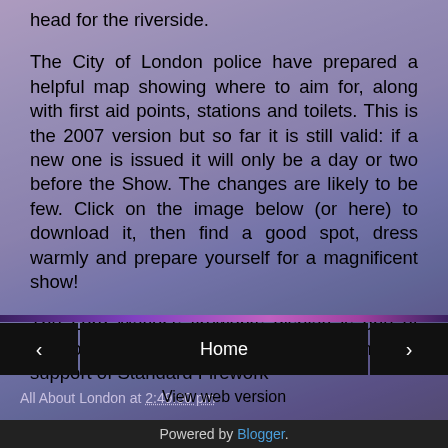head for the riverside. The City of London police have prepared a helpful map showing where to aim for, along with first aid points, stations and toilets. This is the 2007 version but so far it is still valid: if a new one is issued it will only be a day or two before the Show. The changes are likely to be few. Click on the image below (or here) to download it, then find a good spot, dress warmly and prepare yourself for a magnificent show!

The Lord Mayor's fireworks display is one of London's grandest, thanks to the generous support of Standard Firework
All About London at 2:49:00 pm
Home
View web version
Powered by Blogger.